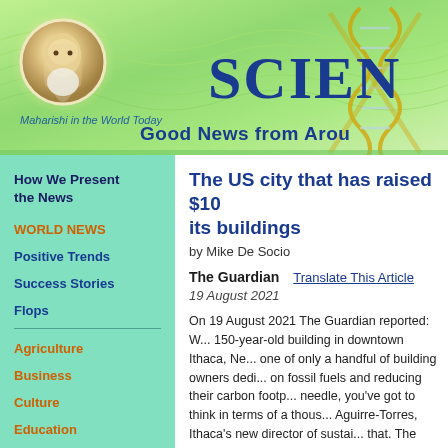[Figure (illustration): Header banner for 'Maharishi in the World Today / Science - Good News from Around the World' website. Green gradient background with wave patterns, circular portrait of Maharishi on the left, large 'SCIEN' text (part of Science) on upper right, DNA double helix graphic, and 'Good News from Arou...' subtitle text in blue.]
Maharishi in the World Today
Good News from Arou
How We Present the News
WORLD NEWS
Positive Trends
Success Stories
Flops
Agriculture
Business
Culture
Education
Government
The US city that has raised $10... its buildings
by Mike De Socio
The Guardian    Translate This Article
19 August 2021
On 19 August 2021 The Guardian reported: W... 150-year-old building in downtown Ithaca, Ne... one of only a handful of building owners dedi... on fossil fuels and reducing their carbon footp... needle, you've got to think in terms of a thous... Aguirre-Torres, Ithaca's new director of sustai... that. The upstate New York city of 30,000, ho... Ithaca College, adopted a Green New Deal in... involves decarbonizing thousands of privately... residential buildings across the city. Global G...